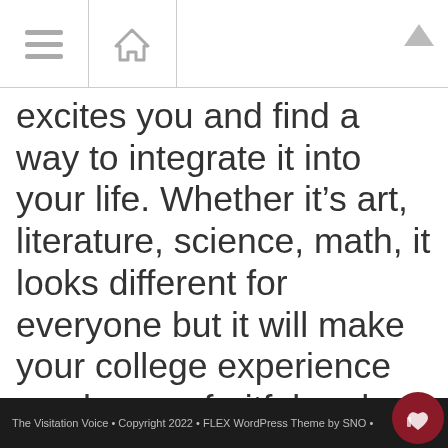excites you and find a way to integrate it into your life. Whether it’s art, literature, science, math, it looks different for everyone but it will make your college experience much more fruitful and enriching. Going to class and doing homework every day will feel less like a chore and
The Visitation Voice • Copyright 2022 • FLEX WordPress Theme by SNO •